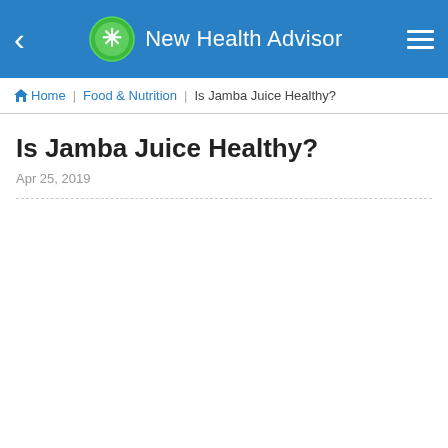New Health Advisor
Home | Food & Nutrition | Is Jamba Juice Healthy?
Is Jamba Juice Healthy?
Apr 25, 2019